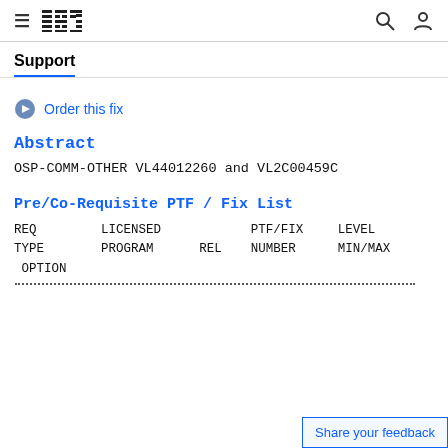IBM Support
Support
Order this fix
Abstract
OSP-COMM-OTHER VL44012260 and VL2C00459C
Pre/Co-Requisite PTF / Fix List
| REQ TYPE | LICENSED PROGRAM | REL | PTF/FIX NUMBER | LEVEL MIN/MAX |
| --- | --- | --- | --- | --- |
| OPTION |  |  |  |  |